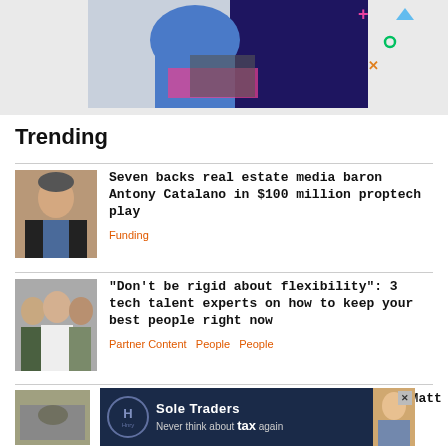[Figure (photo): Woman in blue floral dress using pink laptop against a dark blue illustrated background with colorful decorative elements]
Trending
[Figure (photo): Headshot of a man in a dark suit against a warm background]
Seven backs real estate media baron Antony Catalano in $100 million proptech play
Funding
[Figure (photo): Group photo of three tech professionals — a woman on left, man in center, woman on right]
“Don’t be rigid about flexibility”: 3 tech talent experts on how to keep your best people right now
Partner Content   People   People
[Figure (photo): Partial article image with ad overlay: Sole Traders — Never think about tax again (Hnry advertisement)]
O Matt
a